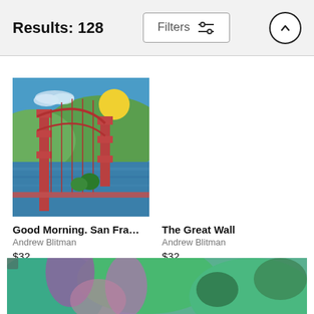Results: 128  Filters
[Figure (illustration): Painting of the Golden Gate Bridge with red towers, blue water, green hills, yellow sun, and blue sky with clouds]
Good Morning. San Fra...
Andrew Blitman
$32
The Great Wall
Andrew Blitman
$32
[Figure (illustration): Partial view of a colorful abstract or figurative painting with teal, green, purple, and pink tones at the bottom of the page]